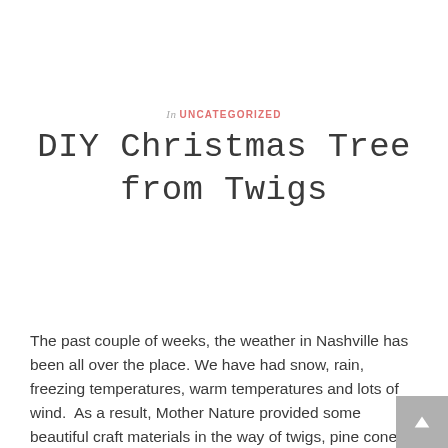In UNCATEGORIZED
DIY Christmas Tree from Twigs
The past couple of weeks, the weather in Nashville has been all over the place. We have had snow, rain, freezing temperatures, warm temperatures and lots of wind.  As a result, Mother Nature provided some beautiful craft materials in the way of twigs, pine cones, leaves and acorns.